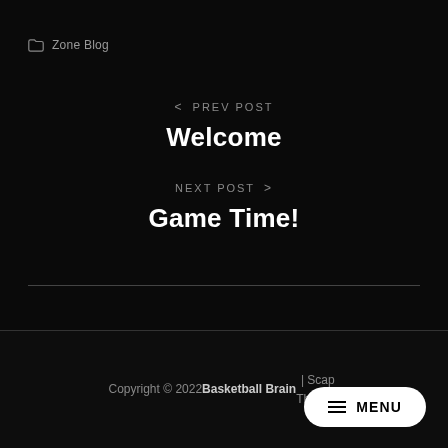Zone Blog
< PREV POST
Welcome
NEXT POST >
Game Time!
Copyright © 2022 Basketball Brain | Scap Themes